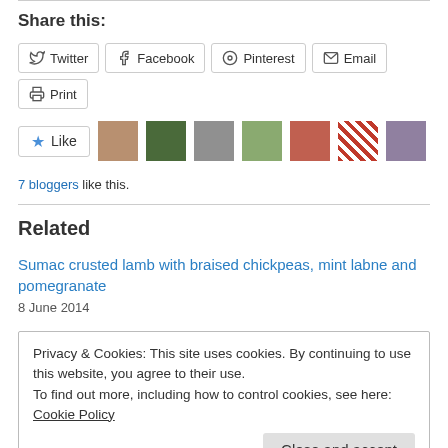Share this:
[Figure (infographic): Social share buttons: Twitter, Facebook, Pinterest, Email, Print]
[Figure (infographic): Like button with star icon, followed by 7 blogger avatar thumbnails]
7 bloggers like this.
Related
Sumac crusted lamb with braised chickpeas, mint labne and pomegranate
8 June 2014
Privacy & Cookies: This site uses cookies. By continuing to use this website, you agree to their use.
To find out more, including how to control cookies, see here: Cookie Policy
Close and accept
24 May 2012